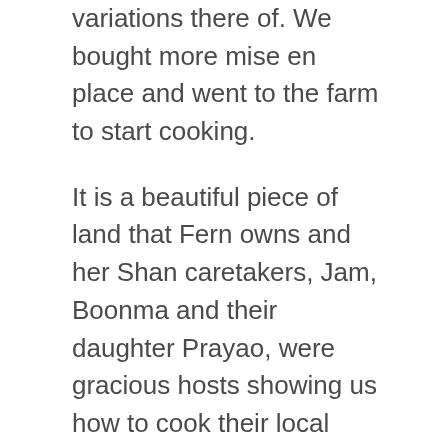variations there of. We bought more mise en place and went to the farm to start cooking.
It is a beautiful piece of land that Fern owns and her Shan caretakers, Jam, Boonma and their daughter Prayao, were gracious hosts showing us how to cook their local foods. After cooking we set up a very comfortable spread under a shade tree, ate our creations and then retired to the rest area to update our notes and sip “lycheetinis” (a home-made lychee and pineapple liquor). Also while up in this region we did a few road trips. We visited a woman who made the most amazing Chinese sausages and home made fermented tofu. I DO mean home-made – she made the tofu, she